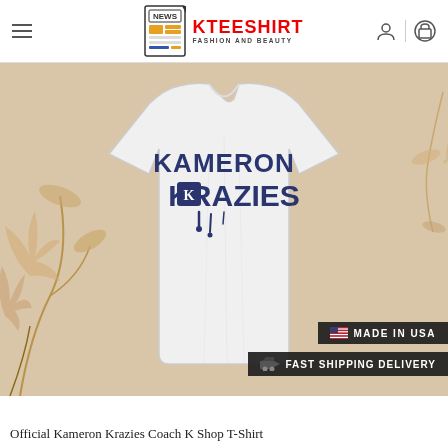KTEESHIRT FASHION AND BEAUTY
[Figure (photo): White t-shirt with 'KAMERON KRAZIES' text in dark navy graffiti-style font, displayed on a model against a beige/tan background with floral decorations. Bottom right badges read 'MADE IN USA' and 'FAST SHIPPING DELIVERY'.]
Official Kameron Krazies Coach K Shop T-Shirt